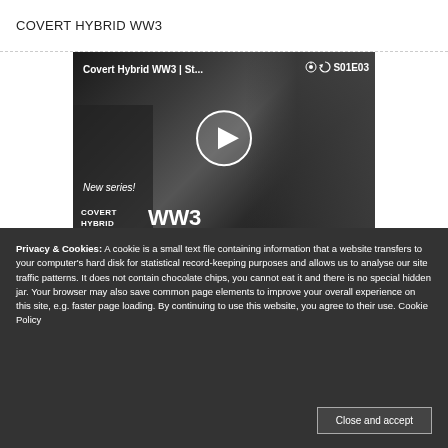COVERT HYBRID WW3
[Figure (screenshot): Video thumbnail for 'Covert Hybrid WW3 | St... S01E03' showing a play button overlay on a black and white image with building on left side and political figures on right, with text 'New series! COVERT HYBRID WW3']
Privacy & Cookies: A cookie is a small text file containing information that a website transfers to your computer's hard disk for statistical record-keeping purposes and allows us to analyse our site traffic patterns. It does not contain chocolate chips, you cannot eat it and there is no special hidden jar. Your browser may also save common page elements to improve your overall experience on this site, e.g. faster page loading. By continuing to use this website, you agree to their use. Cookie Policy
Close and accept